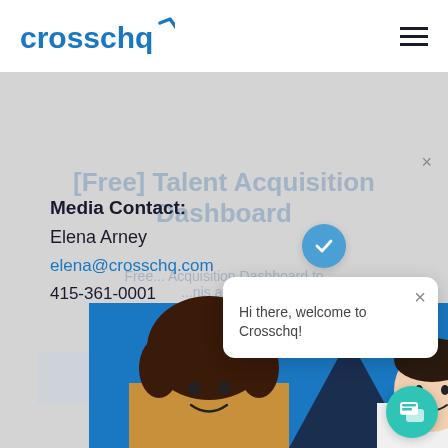[Figure (logo): Crosschq logo with blue checkmark]
[Free] Talent Acquisition Dashboard
Media Contact:
Elena Arney
elena@crosschq.com
415-361-0001
Download Now
[Figure (screenshot): Chat popup bubble saying 'Hi there, welcome to Crosschq!' with blue checkmark circle and close X button]
[Figure (photo): Two people smiling, positioned at bottom of page over blue background with dark triangle shape]